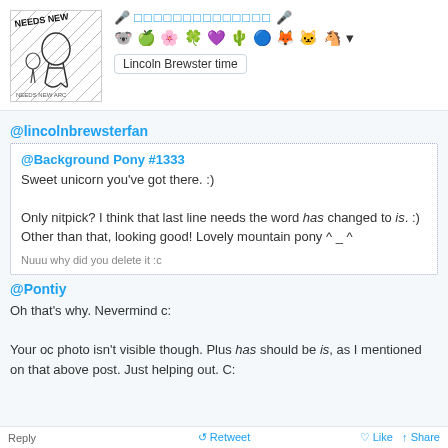[Figure (illustration): Sketched black-and-white drawing with text 'NEEDS NEW' at top]
🎤 □□□□□□□□□□□□□□ 🎤
emoji row with character icons
Lincoln Brewster time
@lincolnbrewsterfan
@Background Pony #1333
Sweet unicorn you've got there. :)

Only nitpick? I think that last line needs the word has changed to is. :)
Other than that, looking good! Lovely mountain pony ^ _ ^

Nuuu why did you delete it :c
@Pontiy
Oh that's why. Nevermind c:

Your oc photo isn't visible though. Plus has should be is, as I mentioned on that above post. Just helping out. C:
Reply     Retweet     Like  Share